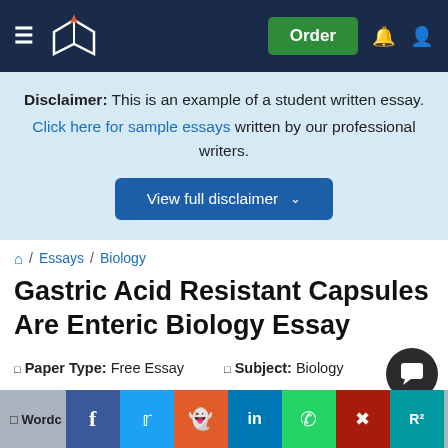[Figure (screenshot): Navigation bar with hamburger menu, book/pen logo, Order button, bell icon, and user icon on dark navy background]
Disclaimer: This is an example of a student written essay. Click here for sample essays written by our professional writers.
View full disclaimer
/ Essays / Biology
Gastric Acid Resistant Capsules Are Enteric Biology Essay
Paper Type: Free Essay   Subject: Biology
Wordc [partially obscured] Jan